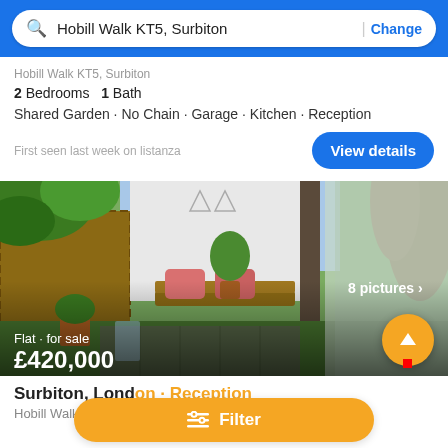Hobill Walk KT5, Surbiton | Change
Hobill Walk KT5, Surbiton
2 Bedrooms 1 Bath
Shared Garden · No Chain · Garage · Kitchen · Reception
First seen last week on listanza
[Figure (photo): Garden/patio area with potted plants, garden furniture with cushions, lush green plants, wooden storage bench, and decorative tall plant on right side]
Flat · for sale £420,000
Surbiton, London · Reception
Hobill Walk KT5, Surbiton